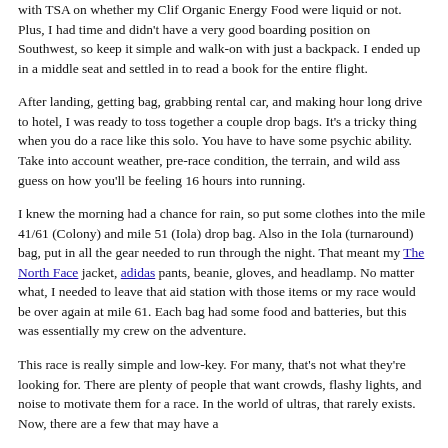with TSA on whether my Clif Organic Energy Food were liquid or not. Plus, I had time and didn't have a very good boarding position on Southwest, so keep it simple and walk-on with just a backpack. I ended up in a middle seat and settled in to read a book for the entire flight.
After landing, getting bag, grabbing rental car, and making hour long drive to hotel, I was ready to toss together a couple drop bags. It's a tricky thing when you do a race like this solo. You have to have some psychic ability. Take into account weather, pre-race condition, the terrain, and wild ass guess on how you'll be feeling 16 hours into running.
I knew the morning had a chance for rain, so put some clothes into the mile 41/61 (Colony) and mile 51 (Iola) drop bag. Also in the Iola (turnaround) bag, put in all the gear needed to run through the night. That meant my The North Face jacket, adidas pants, beanie, gloves, and headlamp. No matter what, I needed to leave that aid station with those items or my race would be over again at mile 61. Each bag had some food and batteries, but this was essentially my crew on the adventure.
This race is really simple and low-key. For many, that's not what they're looking for. There are plenty of people that want crowds, flashy lights, and noise to motivate them for a race. In the world of ultras, that rarely exists. Now, there are a few that may have a